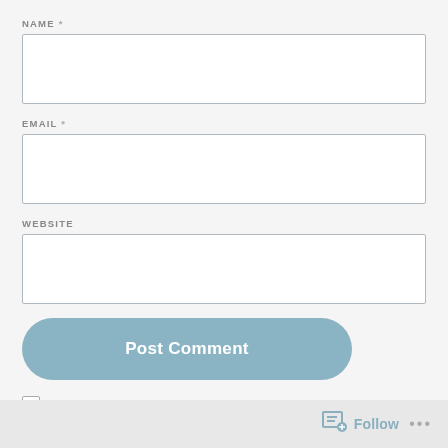NAME *
EMAIL *
WEBSITE
Post Comment
NOTIFY ME OF NEW COMMENTS VIA EMAIL.
Follow
...